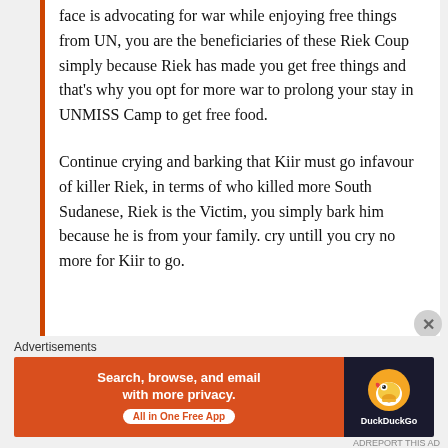face is advocating for war while enjoying free things from UN, you are the beneficiaries of these Riek Coup simply because Riek has made you get free things and that’s why you opt for more war to prolong your stay in UNMISS Camp to get free food.
Continue crying and barking that Kiir must go infavour of killer Riek, in terms of who killed more South Sudanese, Riek is the Victim, you simply bark him because he is from your family. cry untill you cry no more for Kiir to go.
Advertisements
[Figure (other): DuckDuckGo advertisement banner: orange section on left reads 'Search, browse, and email with more privacy. All in One Free App', dark section on right with DuckDuckGo logo and duck icon.]